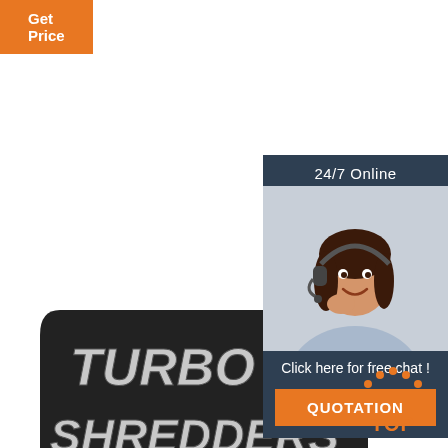[Figure (logo): Orange button with white text 'Get Price']
[Figure (infographic): Customer service chat panel with '24/7 Online' header, photo of female agent with headset, 'Click here for free chat!' text, and orange 'QUOTATION' button]
[Figure (logo): Turbo Shredders embroidered patch logo with stylized text on dark background]
[Figure (illustration): Orange 'TOP' button with dotted arc above, indicating scroll to top]